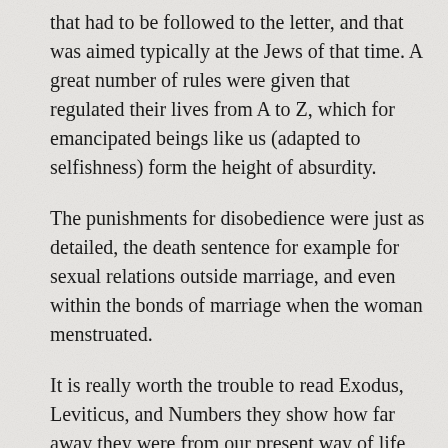that had to be followed to the letter, and that was aimed typically at the Jews of that time. A great number of rules were given that regulated their lives from A to Z, which for emancipated beings like us (adapted to selfishness) form the height of absurdity.
The punishments for disobedience were just as detailed, the death sentence for example for sexual relations outside marriage, and even within the bonds of marriage when the woman menstruated.
It is really worth the trouble to read Exodus, Leviticus, and Numbers they show how far away they were from our present way of life, and illustrate better than any other method that the normal Godly guidance would have